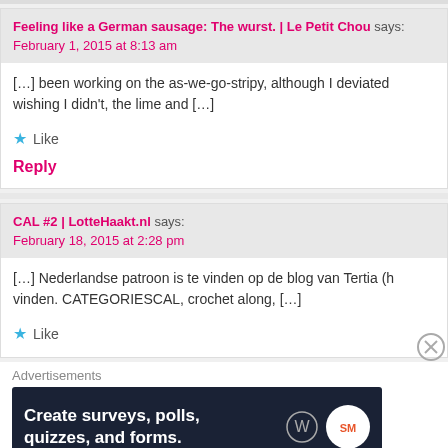Feeling like a German sausage: The wurst. | Le Petit Chou says:
February 1, 2015 at 8:13 am
[...] been working on the as-we-go-stripy, although I deviated wishing I didn't, the lime and [...]
Like
Reply
CAL #2 | LotteHaakt.nl says:
February 18, 2015 at 2:28 pm
[...] Nederlandse patroon is te vinden op de blog van Tertia (h vinden. CATEGORIESCAL, crochet along, [...]
Like
Advertisements
[Figure (screenshot): Advertisement banner: dark navy background with white bold text 'Create surveys, polls, quizzes, and forms.' and WordPress and SurveyMonkey logos on the right.]